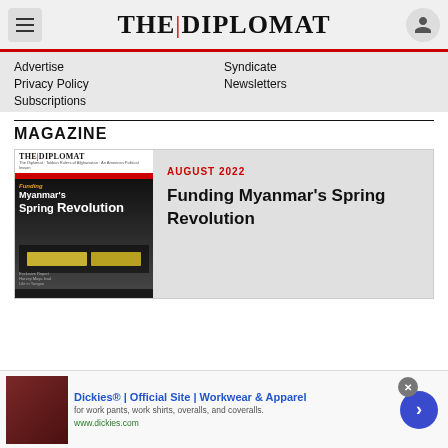THE DIPLOMAT
Advertise
Syndicate
Privacy Policy
Newsletters
Subscriptions
MAGAZINE
[Figure (illustration): The Diplomat magazine cover for August 2022 featuring 'Funding Myanmar's Spring Revolution' with silhouettes of people and stacks of money on a dark background]
AUGUST 2022
Funding Myanmar's Spring Revolution
Dickies® | Official Site | Workwear & Apparel
for work pants, work shirts, overalls, and coveralls.
www.dickies.com